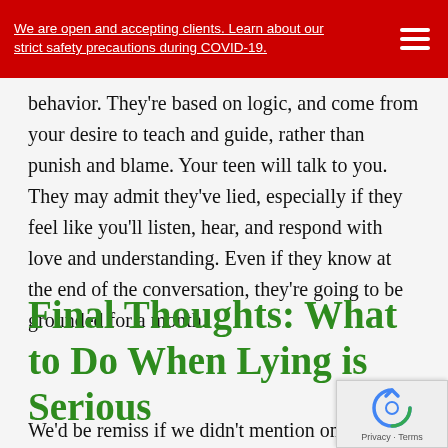We are open and accepting clients. Learn about our strict safety precautions during COVID-19.
behavior. They're based on logic, and come from your desire to teach and guide, rather than punish and blame. Your teen will talk to you. They may admit they've lied, especially if they feel like you'll listen, hear, and respond with love and understanding. Even if they know at the end of the conversation, they're going to be grounded for a month.
Final Thoughts: What to Do When Lying is Serious
We'd be remiss if we didn't mention one last point.